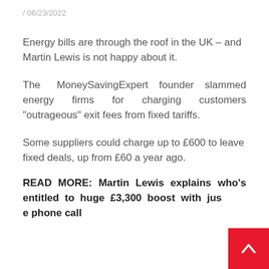/ 06/23/2022
Energy bills are through the roof in the UK – and Martin Lewis is not happy about it.
The MoneySavingExpert founder slammed energy firms for charging customers "outrageous" exit fees from fixed tariffs.
Some suppliers could charge up to £600 to leave fixed deals, up from £60 a year ago.
READ MORE: Martin Lewis explains who's entitled to huge £3,300 boost with just one phone call